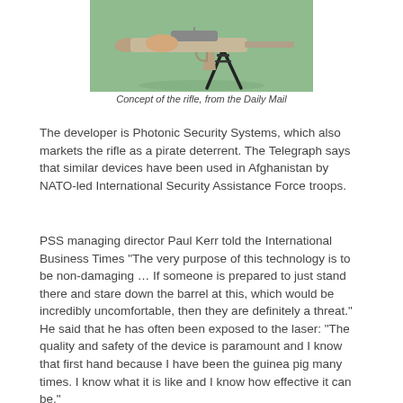[Figure (illustration): Illustration/concept image of a rifle on a bipod stand against a green background, from the Daily Mail]
Concept of the rifle, from the Daily Mail
The developer is Photonic Security Systems, which also markets the rifle as a pirate deterrent. The Telegraph says that similar devices have been used in Afghanistan by NATO-led International Security Assistance Force troops.
PSS managing director Paul Kerr told the International Business Times "The very purpose of this technology is to be non-damaging … If someone is prepared to just stand there and stare down the barrel at this, which would be incredibly uncomfortable, then they are definitely a threat." He said that he has often been exposed to the laser: "The quality and safety of the device is paramount and I know that first hand because I have been the guinea pig many times. I know what it is like and I know how effective it can be."